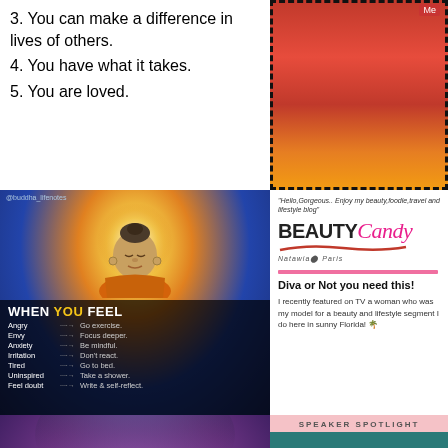3. You can make a difference in lives of others.
4. You have what it takes.
5. You are loved.
[Figure (photo): Photo of red fabric/bag with dashed border, labeled 'Me']
[Figure (infographic): Buddha meditation image with 'WHEN YOU FEEL' list: Angry→Go exercise, Envy→Focus deeper, Anxiety→Be mindful, Irritation→Don't react, Tired→Go to bed, Uninspired→Take a shower, Feel doubt→Write & self-reflect. Tagged @buddha_lifenotes]
"Hello,Gorgeous.. Enjoy my beauty,foodie,travel and lifestyle blog"
[Figure (logo): BEAUTY Candy logo with script lettering and red swash underline]
Diva or Not you need this!
I recently featured on TV a woman who was my model for a beauty and lifestyle segment I do here in sunny Florida! 🌴
[Figure (photo): Two women on a TV set with purple/blue stage lighting background]
[Figure (infographic): Speaker Spotlight – International Esthetics Cosmetics & Spa Conference, Florida, October 9-10, 2022]